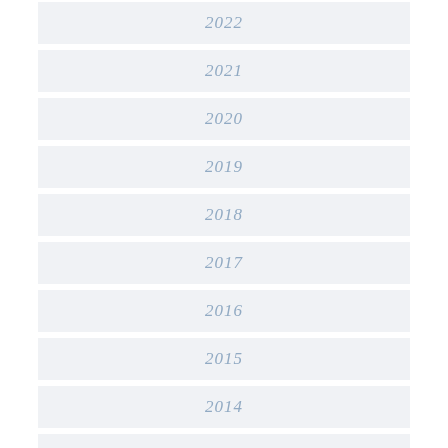2022
2021
2020
2019
2018
2017
2016
2015
2014
2013
» DECEMBER (16)
» NOVEMBER (15)